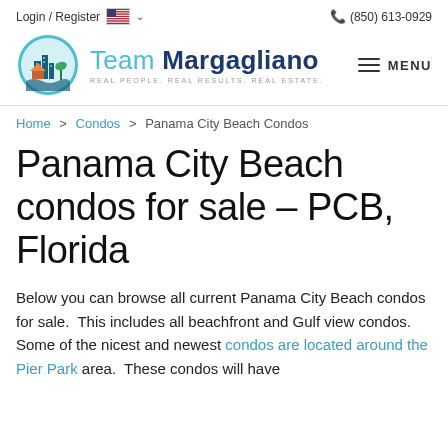Login / Register  🇺🇸 ∨   (850) 613-0929
[Figure (logo): Team Margagliano real estate logo — circular teal badge with buildings and palm tree, next to text 'Team Margagliano' and tagline 'REAL PEOPLE. REAL RESULTS. REAL ESTATE.']
Home > Condos > Panama City Beach Condos
Panama City Beach condos for sale – PCB, Florida
Below you can browse all current Panama City Beach condos for sale.  This includes all beachfront and Gulf view condos.  Some of the nicest and newest condos are located around the Pier Park area.  These condos will have…